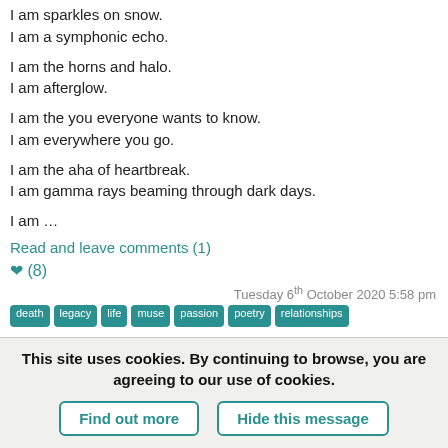I am sparkles on snow.
I am a symphonic echo.
I am the horns and halo.
I am afterglow.
I am the you everyone wants to know.
I am everywhere you go.
I am the aha of heartbreak.
I am gamma rays beaming through dark days.
I am …
Read and leave comments (1)
❤ (8)
Tuesday 6th October 2020 5:58 pm
death  legacy  life  muse  passion  poetry  relationships
This site uses cookies. By continuing to browse, you are agreeing to our use of cookies.
Find out more  Hide this message